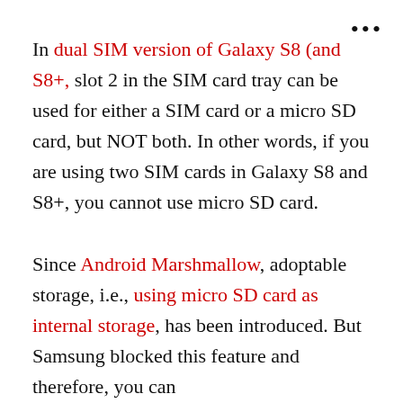In dual SIM version of Galaxy S8 (and S8+, slot 2 in the SIM card tray can be used for either a SIM card or a micro SD card, but NOT both. In other words, if you are using two SIM cards in Galaxy S8 and S8+, you cannot use micro SD card.
Since Android Marshmallow, adoptable storage, i.e., using micro SD card as internal storage, has been introduced. But Samsung blocked this feature and therefore, you can